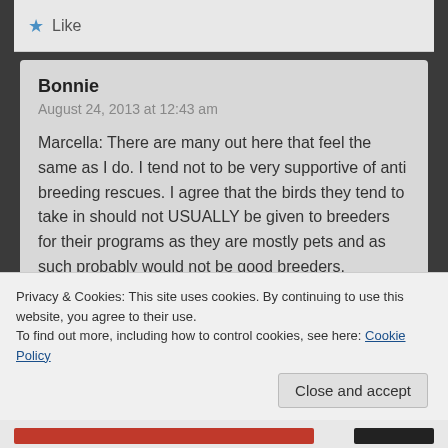Like
Bonnie
August 24, 2013 at 12:43 am

Marcella: There are many out here that feel the same as I do. I tend not to be very supportive of anti breeding rescues. I agree that the birds they tend to take in should not USUALLY be given to breeders for their programs as they are mostly pets and as such probably would not be good breeders. However, there are some birds that probably should go into breeding situations
Privacy & Cookies: This site uses cookies. By continuing to use this website, you agree to their use.
To find out more, including how to control cookies, see here: Cookie Policy
Close and accept